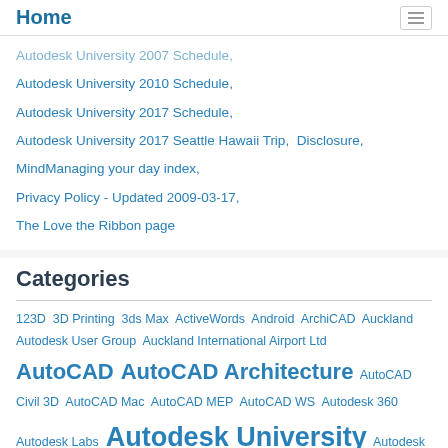Home
Autodesk University 2007 Schedule,
Autodesk University 2010 Schedule,
Autodesk University 2017 Schedule,
Autodesk University 2017 Seattle Hawaii Trip,  Disclosure,
MindManaging your day index,
Privacy Policy - Updated 2009-03-17,
The Love the Ribbon page
Categories
123D  3D Printing  3ds Max  ActiveWords  Android  ArchiCAD  Auckland Autodesk User Group  Auckland International Airport Ltd  AutoCAD  AutoCAD Architecture  AutoCAD Civil 3D  AutoCAD Mac  AutoCAD MEP  AutoCAD WS  Autodesk 360  Autodesk Labs  Autodesk University  Autodesk User Group  AutoSketch  Bentley  BiLT  BlogJet  Books  Building Design Suite  Business